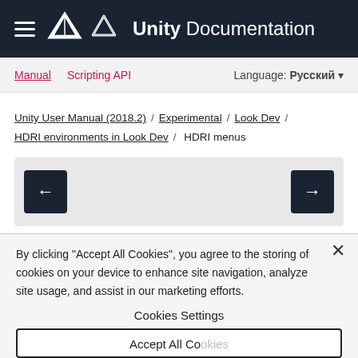Unity Documentation
Manual / Scripting API   Language: Русский
Unity User Manual (2018.2) / Experimental / Look Dev / HDRI environments in Look Dev / HDRI menus
[Figure (other): Navigation bar with left arrow and right arrow buttons on dark background]
By clicking "Accept All Cookies", you agree to the storing of cookies on your device to enhance site navigation, analyze site usage, and assist in our marketing efforts.
Cookies Settings
Accept All Cookies